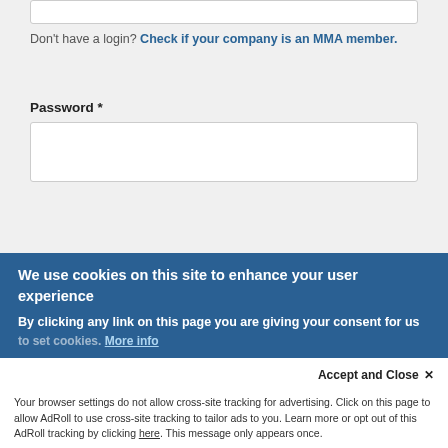Don't have a login? Check if your company is an MMA member.
Password *
Forgot your password?
Create new account
Request new password
LOG IN
If your company is an MMA member and you need log-in information, please email membership@mmaglobal.com
We use cookies on this site to enhance your user experience
By clicking any link on this page you are giving your consent for us to set cookies. More info
Accept and Close ✕
Your browser settings do not allow cross-site tracking for advertising. Click on this page to allow AdRoll to use cross-site tracking to tailor ads to you. Learn more or opt out of this AdRoll tracking by clicking here. This message only appears once.